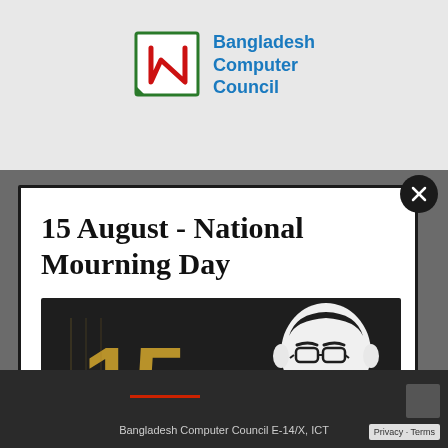[Figure (logo): Bangladesh Computer Council logo with BCC emblem and blue text]
15 August - National Mourning Day
[Figure (illustration): 15 August National Mourning Day banner with golden '15 AUGUST NATIONAL MOURNING DAY' text on dark background and white illustration of Bangabandhu Sheikh Mujibur Rahman]
Bangladesh Computer Council  E-14/X, ICT